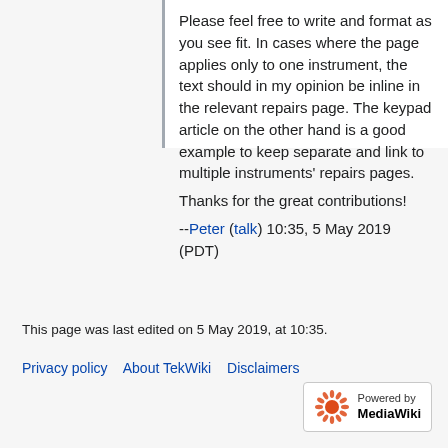Please feel free to write and format as you see fit. In cases where the page applies only to one instrument, the text should in my opinion be inline in the relevant repairs page. The keypad article on the other hand is a good example to keep separate and link to multiple instruments' repairs pages.
Thanks for the great contributions!
--Peter (talk) 10:35, 5 May 2019 (PDT)
This page was last edited on 5 May 2019, at 10:35.
Privacy policy   About TekWiki   Disclaimers